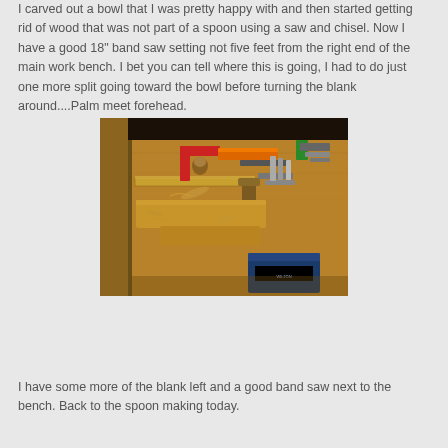I carved out a bowl that I was pretty happy with and then started getting rid of wood that was not part of a spoon using a saw and chisel. Now I have a good 18" band saw setting not five feet from the right end of the main work bench. I bet you can tell where this is going, I had to do just one more split going toward the bowl before turning the blank around....Palm meet forehead.
[Figure (photo): A cluttered wooden workbench covered with various woodworking tools including chisels, a hammer, a level, rulers, and wood pieces/blanks scattered across the surface.]
I have some more of the blank left and a good band saw next to the bench. Back to the spoon making today.